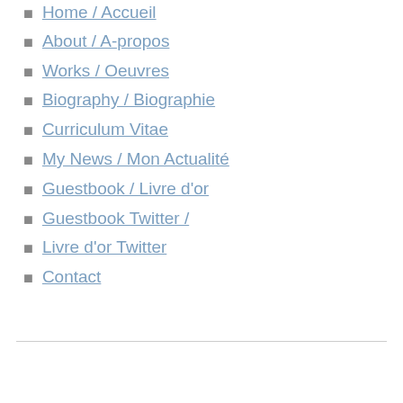Home / Accueil
About / A-propos
Works / Oeuvres
Biography / Biographie
Curriculum Vitae
My News / Mon Actualité
Guestbook / Livre d'or
Guestbook Twitter /
Livre d'or Twitter
Contact